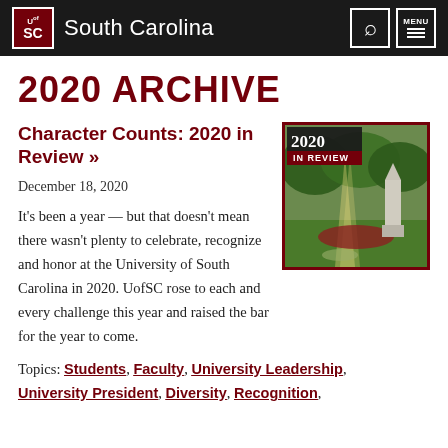University of South Carolina
2020 ARCHIVE
Character Counts: 2020 in Review »
[Figure (photo): 2020 In Review graphic showing a University of South Carolina campus scene with a monument, trees, and sunlight, with '2020 IN REVIEW' text overlay]
December 18, 2020
It's been a year — but that doesn't mean there wasn't plenty to celebrate, recognize and honor at the University of South Carolina in 2020. UofSC rose to each and every challenge this year and raised the bar for the year to come.
Topics: Students, Faculty, University Leadership, University President, Diversity, Recognition,